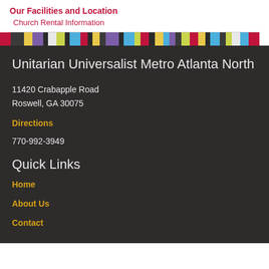Our Facilities and Location
Church Rental Information
Unitarian Universalist Metro Atlanta North
11420 Crabapple Road
Roswell, GA 30075
Directions
770-992-3949
Quick Links
Home
About Us
Contact